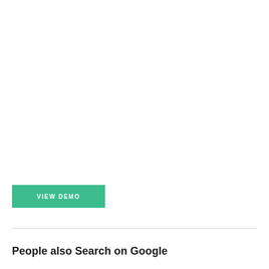[Figure (other): Green 'VIEW DEMO' button with white uppercase text on a teal/green background]
People also Search on Google